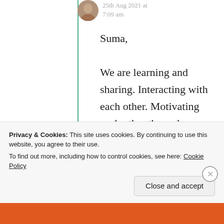25th Aug 2021 at 7:09 am
Suma,

We are learning and sharing. Interacting with each other. Motivating each other through our expressions. I feel so happy in this world of bloggers. Therefore I can
Privacy & Cookies: This site uses cookies. By continuing to use this website, you agree to their use.
To find out more, including how to control cookies, see here: Cookie Policy
Close and accept